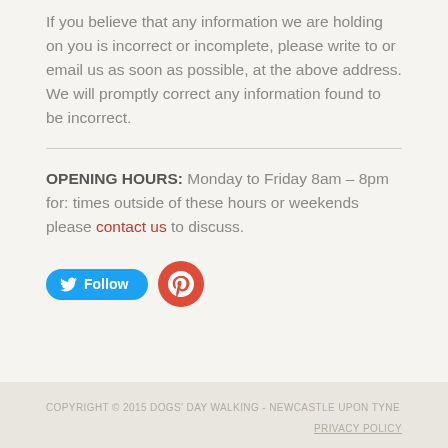If you believe that any information we are holding on you is incorrect or incomplete, please write to or email us as soon as possible, at the above address. We will promptly correct any information found to be incorrect.
OPENING HOURS: Monday to Friday 8am – 8pm for: times outside of these hours or weekends please contact us to discuss.
[Figure (other): Twitter Follow button and Google+ button]
COPYRIGHT © 2015 DOGS' DAY WALKING - NEWCASTLE UPON TYNE
PRIVACY POLICY